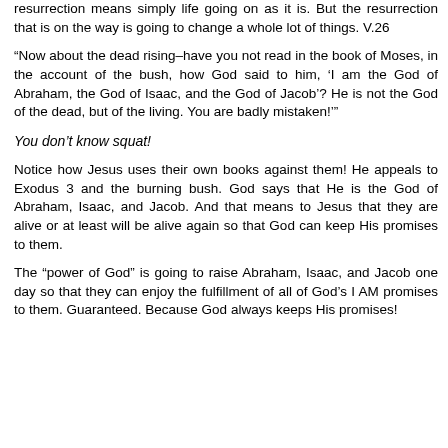resurrection means simply life going on as it is. But the resurrection that is on the way is going to change a whole lot of things. V.26
“Now about the dead rising–have you not read in the book of Moses, in the account of the bush, how God said to him, ‘I am the God of Abraham, the God of Isaac, and the God of Jacob’? He is not the God of the dead, but of the living. You are badly mistaken!’”
You don’t know squat!
Notice how Jesus uses their own books against them! He appeals to Exodus 3 and the burning bush. God says that He is the God of Abraham, Isaac, and Jacob. And that means to Jesus that they are alive or at least will be alive again so that God can keep His promises to them.
The “power of God” is going to raise Abraham, Isaac, and Jacob one day so that they can enjoy the fulfillment of all of God’s I AM promises to them. Guaranteed. Because God always keeps His promises!